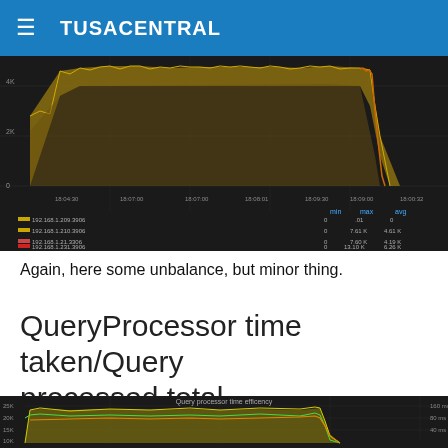TUSACENTRAL
[Figure (continuous-plot): Dark background network monitoring chart showing multiple time-series lines (gold/orange area charts) for IPs 192.168.1.200.3906, 192.168.1.210.3906, 192.168.1.21.3306, 192.168.1.231.3906, 192.168.1.233.3906 over time range ~18:04:30 to 18:00:32. Legend shows min/max/avg columns. Values show spikes up to ~4K-5K peak then sharp drop. Y-axis labels: 4K, 2K, 0.]
Again, here some unbalance, but minor thing.
QueryProcessor time taken/Query processed total
[Figure (continuous-plot): Dark background dual-axis chart titled 'Query processor time efficency' showing green/yellow area chart (left y-axis: 25K, 20K, 15K, 10K queries) and orange/yellow line chart (right y-axis: 160ms, 80ms, 40ms) over a time series. Data shows stable plateau then sharp decline.]